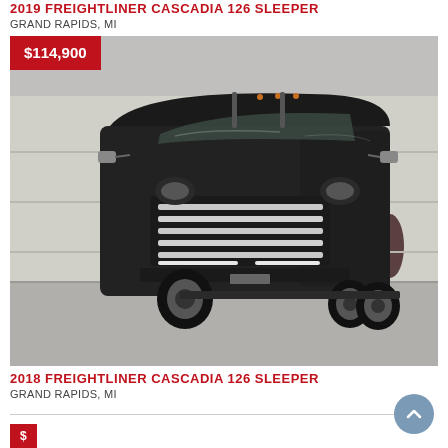2019 FREIGHTLINER CASCADIA 126 SLEEPER
GRAND RAPIDS, MI
[Figure (photo): Black 2019 Freightliner Cascadia 126 Sleeper semi-truck parked in front of a light gray industrial building with a blue sky]
2018 FREIGHTLINER CASCADIA 126 SLEEPER
GRAND RAPIDS, MI